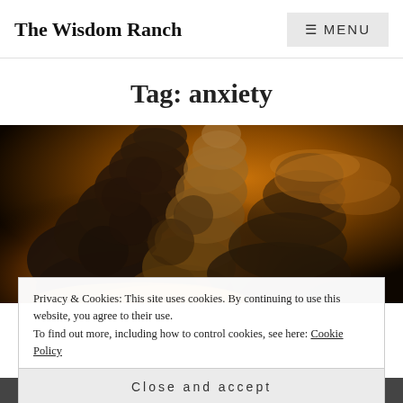The Wisdom Ranch
MENU
Tag: anxiety
[Figure (photo): Dramatic dark smoke cloud billowing upward with orange and amber fire glow beneath, set against a stormy sky.]
Privacy & Cookies: This site uses cookies. By continuing to use this website, you agree to their use.
To find out more, including how to control cookies, see here: Cookie Policy
Close and accept